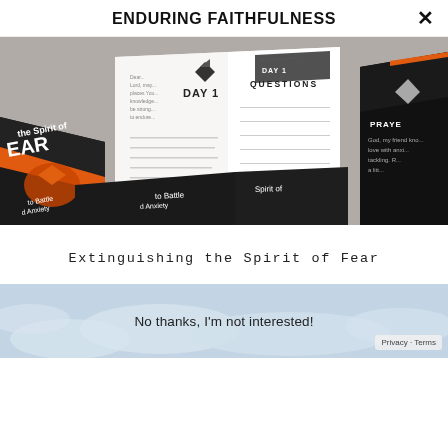ENDURING FAITHFULNESS
[Figure (photo): Spread of open books/booklets showing 'Day 1', 'Day 1 Questions', and 'Prayer' pages, along with dark-covered books titled 'Extinguishing the Spirit of Fear' with a flame and bird graphic and text 'to Battle Anxiety']
Extinguishing the Spirit of Fear
[Figure (photo): Partial aerial/clouds photo visible at bottom of page]
No thanks, I'm not interested!
Privacy · Terms